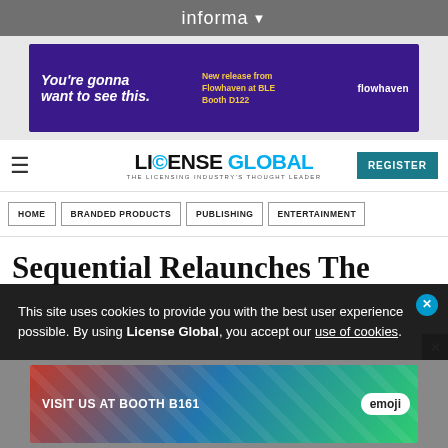informa
[Figure (infographic): Flowhaven advertisement banner: dark purple background, text 'You're gonna want to see this.' on left, yellow text 'New release from Flowhaven at BLE Booth D122' in center, Big Ben illustration and Flowhaven logo on right]
LICENSE GLOBAL — THE LICENSING INDUSTRY'S THOUGHT LEADER | REGISTER
HOME | BRANDED PRODUCTS | PUBLISHING | ENTERTAINMENT
Sequential Relaunches The
This site uses cookies to provide you with the best user experience possible. By using License Global, you accept our use of cookies.
[Figure (infographic): Emoji brand advertisement banner: colorful background with geometric shapes, text 'VISIT US AT BOOTH B161', emoji smiley face characters, and Emoji brand logo on right]